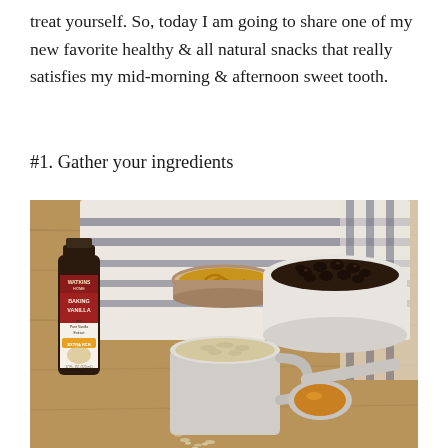treat yourself. So, today I am going to share one of my new favorite healthy & all natural snacks that really satisfies my mid-morning & afternoon sweet tooth.
#1. Gather your ingredients
[Figure (photo): Overhead flat-lay photo on a wood surface showing baking ingredients: a bottle of Watkins Baking Vanilla extract, a small open tin of peanut butter, a white bowl filled with chocolate chips, a measuring cup with oats, and a small measuring cup with honey or maple syrup, arranged on a striped white and navy cloth/towel.]